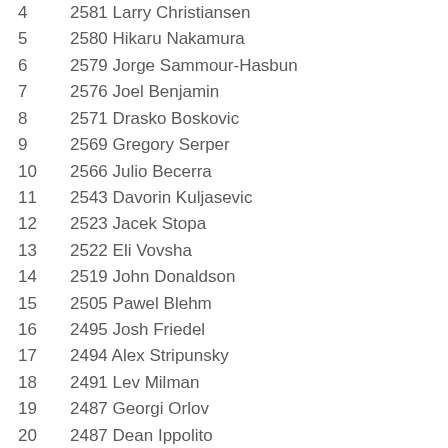4   2581 Larry Christiansen
5   2580 Hikaru Nakamura
6   2579 Jorge Sammour-Hasbun
7   2576 Joel Benjamin
8   2571 Drasko Boskovic
9   2569 Gregory Serper
10  2566 Julio Becerra
11  2543 Davorin Kuljasevic
12  2523 Jacek Stopa
13  2522 Eli Vovsha
14  2519 John Donaldson
15  2505 Pawel Blehm
16  2495 Josh Friedel
17  2494 Alex Stripunsky
18  2491 Lev Milman
19  2487 Georgi Orlov
20  2487 Dean Ippolito
21  2484 Pascal Charbonneau
22  2481 Eugene Perelshteyn
23  2477 Irina Krush
24  2466 Jay Bonin
25  2463 Vince McCambridge
26  2462 ...